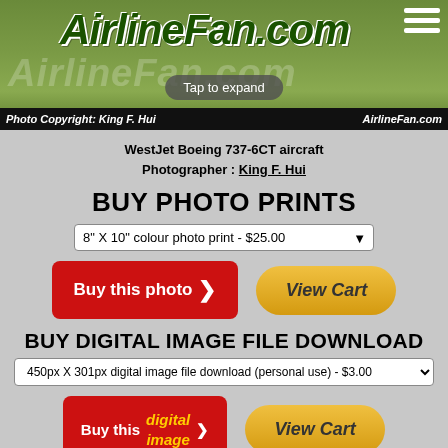[Figure (photo): AirlineFan.com website header with green grass airfield background, logo, and hamburger menu]
Photo Copyright: King F. Hui   AirlineFan.com
WestJet Boeing 737-6CT aircraft
Photographer : King F. Hui
BUY PHOTO PRINTS
8" X 10" colour photo print - $25.00
[Figure (screenshot): Buy this photo button (red) and View Cart button (gold)]
BUY DIGITAL IMAGE FILE DOWNLOAD
450px X 301px digital image file download (personal use) - $3.00
[Figure (screenshot): Buy this digital image button (red) and View Cart button (gold)]